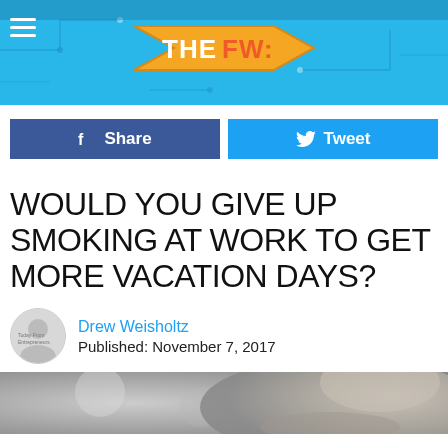THE FW:
Share  Tweet
WOULD YOU GIVE UP SMOKING AT WORK TO GET MORE VACATION DAYS?
Drew Weisholtz
Published: November 7, 2017
[Figure (photo): Close-up black and white photo of a man's face, blurred background]